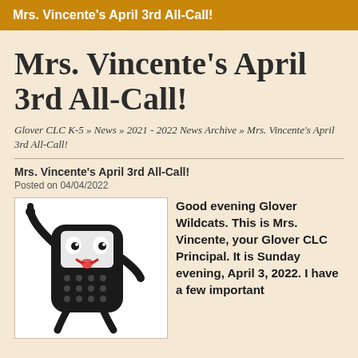Mrs. Vincente's April 3rd All-Call!
Mrs. Vincente's April 3rd All-Call!
Glover CLC K-5 » News » 2021 - 2022 News Archive » Mrs. Vincente's April 3rd All-Call!
Mrs. Vincente's April 3rd All-Call!
Posted on 04/04/2022
[Figure (illustration): Cartoon image of an animated smiling cell phone character with arms and legs, waving one hand up.]
Good evening Glover Wildcats.  This is Mrs. Vincente, your Glover CLC Principal.  It is Sunday evening, April 3, 2022.  I have a few important